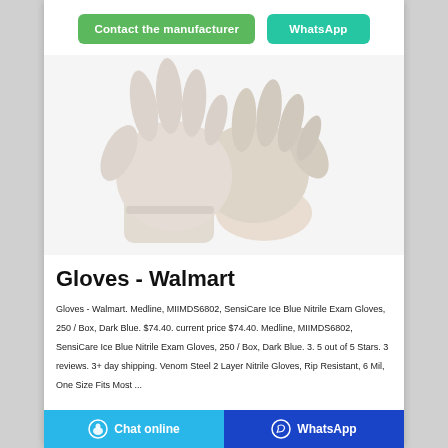[Figure (other): Two white latex/nitrile exam gloves worn on hands, shown against white background]
Gloves - Walmart
Gloves - Walmart. Medline, MIIMDS6802, SensiCare Ice Blue Nitrile Exam Gloves, 250 / Box, Dark Blue. $74.40. current price $74.40. Medline, MIIMDS6802, SensiCare Ice Blue Nitrile Exam Gloves, 250 / Box, Dark Blue. 3. 5 out of 5 Stars. 3 reviews. 3+ day shipping. Venom Steel 2 Layer Nitrile Gloves, Rip Resistant, 6 Mil, One Size Fits Most ...